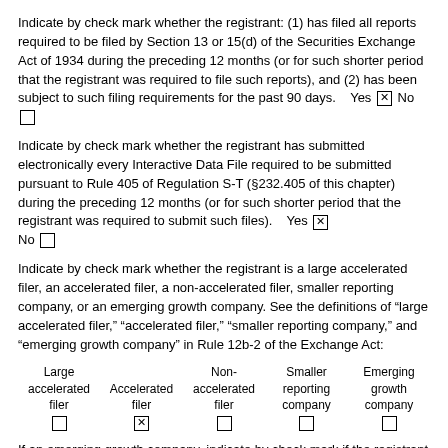Indicate by check mark whether the registrant: (1) has filed all reports required to be filed by Section 13 or 15(d) of the Securities Exchange Act of 1934 during the preceding 12 months (or for such shorter period that the registrant was required to file such reports), and (2) has been subject to such filing requirements for the past 90 days.    Yes ☒ No ☐
Indicate by check mark whether the registrant has submitted electronically every Interactive Data File required to be submitted pursuant to Rule 405 of Regulation S-T (§232.405 of this chapter) during the preceding 12 months (or for such shorter period that the registrant was required to submit such files).    Yes ☒  No ☐
Indicate by check mark whether the registrant is a large accelerated filer, an accelerated filer, a non-accelerated filer, smaller reporting company, or an emerging growth company. See the definitions of "large accelerated filer," "accelerated filer," "smaller reporting company," and "emerging growth company" in Rule 12b-2 of the Exchange Act:
| Large accelerated filer | Accelerated filer | Non-accelerated filer | Smaller reporting company | Emerging growth company |
| --- | --- | --- | --- | --- |
| ☐ | ☒ | ☐ | ☐ | ☐ |
If an emerging growth company, indicate by check mark if the registrant has elected not to use the extended transition period for complying with any new or revised financial accounting standards provided pursuant to Section 13(a) of the